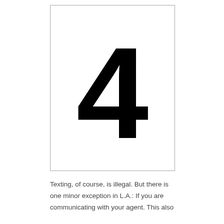[Figure (illustration): A large bold numeral '4' displayed inside a rectangular card with a thin gray border, centered on white background.]
Texting, of course, is illegal. But there is one minor exception in L.A.: If you are communicating with your agent. This also